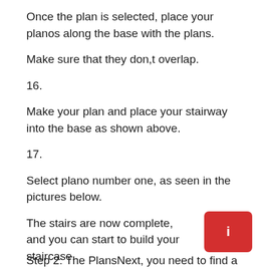Once the plan is selected, place your planos along the base with the plans.
Make sure that they don,t overlap.
16.
Make your plan and place your stairway into the base as shown above.
17.
Select plano number one, as seen in the pictures below.
The stairs are now complete, and you can start to build your staircase.
Step 2: The PlansNext, you need to find a good design